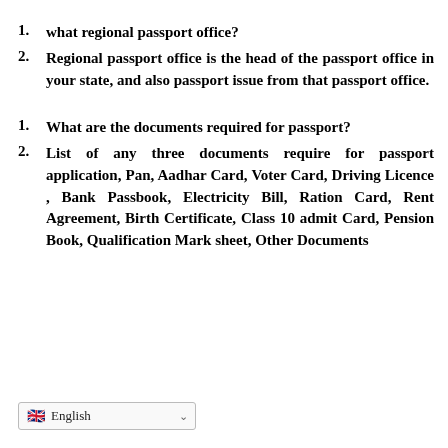1. what regional passport office?
2. Regional passport office is the head of the passport office in your state, and also passport issue from that passport office.
1. What are the documents required for passport?
2. List of any three documents require for passport application, Pan, Aadhar Card, Voter Card, Driving Licence , Bank Passbook, Electricity Bill, Ration Card, Rent Agreement, Birth Certificate, Class 10 admit Card, Pension Book, Qualification Mark sheet, Other Documents